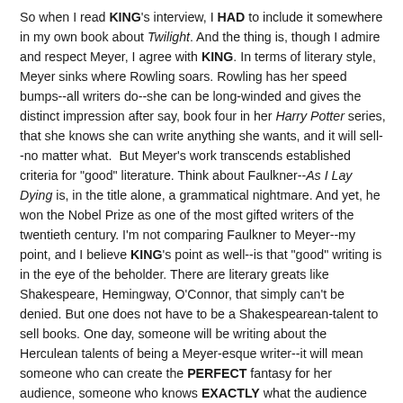So when I read KING's interview, I HAD to include it somewhere in my own book about Twilight. And the thing is, though I admire and respect Meyer, I agree with KING. In terms of literary style, Meyer sinks where Rowling soars. Rowling has her speed bumps--all writers do--she can be long-winded and gives the distinct impression after say, book four in her Harry Potter series, that she knows she can write anything she wants, and it will sell--no matter what. But Meyer's work transcends established criteria for "good" literature. Think about Faulkner--As I Lay Dying is, in the title alone, a grammatical nightmare. And yet, he won the Nobel Prize as one of the most gifted writers of the twentieth century. I'm not comparing Faulkner to Meyer--my point, and I believe KING's point as well--is that "good" writing is in the eye of the beholder. There are literary greats like Shakespeare, Hemingway, O'Connor, that simply can't be denied. But one does not have to be a Shakespearean-talent to sell books. One day, someone will be writing about the Herculean talents of being a Meyer-esque writer--it will mean someone who can create the PERFECT fantasy for her audience, someone who knows EXACTLY what the audience wants and needs...and can give it to them. I know I can't do that. When I write, I write what works for my own context, an admittedly erudite platform that doesn't appeal to everyone. Twilight, however, does.